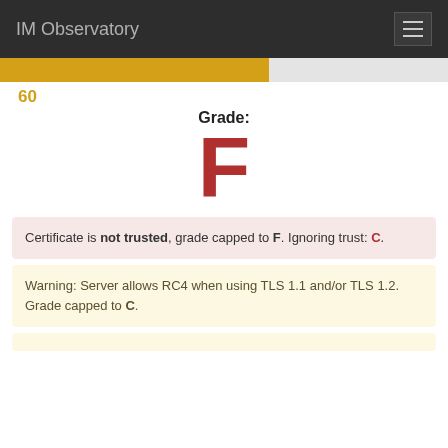IM Observatory
[Figure (other): Progress bar showing 60% fill in golden/amber color, remainder in light gray]
60
Grade: F
Certificate is not trusted, grade capped to F. Ignoring trust: C.
Warning: Server allows RC4 when using TLS 1.1 and/or TLS 1.2. Grade capped to C.